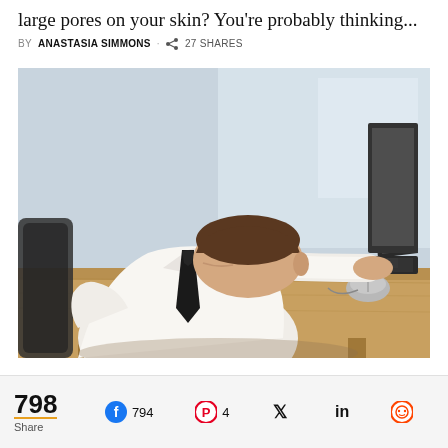large pores on your skin? You're probably thinking...
BY ANASTASIA SIMMONS · 27 SHARES
[Figure (photo): Man in white dress shirt and tie sleeping face-down on a laptop at a wooden desk, with a computer mouse visible nearby]
798 Share  794  4  (Twitter) (LinkedIn) (Reddit)